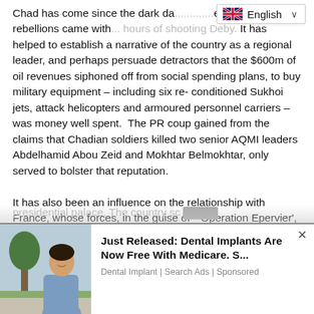Chad has come since the dark da... en two serious rebellions came with... hours of shooting Deby. It has helped to establish a narrative of the country as a regional leader, and perhaps persuade detractors that the $600m of oil revenues siphoned off from social spending plans, to buy military equipment – including six reconditioned Sukhoi jets, attack helicopters and armoured personnel carriers – was money well spent.  The PR coup gained from the claims that Chadian soldiers killed two senior AQMI leaders Abdelhamid Abou Zeid and Mokhtar Belmokhtar, only served to bolster that reputation.
It has also been an influence on the relationship with France, whose forces, in the guise of "˜Operation Epervier', saved Deby's skin five years ago as the rebels bombarded the presidential palace. The country sc...
[Figure (screenshot): Language selector bar showing UK flag and 'English' label with dropdown chevron]
[Figure (photo): Advertisement banner: photo of smiling woman outdoors, with text 'Just Released: Dental Implants Are Now Free With Medicare. S...' and subtitle 'Dental Implant | Search Ads | Sponsored']